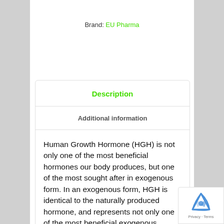Brand: EU Pharma
Description
Additional information
Human Growth Hormone (HGH) is not only one of the most beneficial hormones our body produces, but one of the most sought after in exogenous form. In an exogenous form, HGH is identical to the naturally produced hormone, and represents not only one of the most beneficial exogenous hormones but one of the most well-tolerated among men and women. Its high level of toleration applies not only to medicinal use but performance enhancement as well.